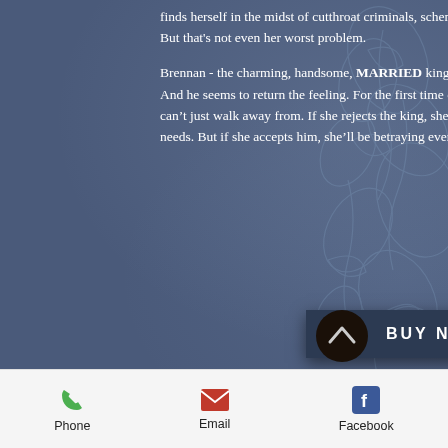finds herself in the midst of cutthroat criminals, scheming nobles, and possible ghosts in the castle. But that's not even her worst problem.
Brennan - the charming, handsome, MARRIED king of Morganoch - has set Lace's heart on fire. And he seems to return the feeling. For the first time ever, Lace is facing real temptation, one she can't just walk away from. If she rejects the king, she'll lose the alliance her kingdom so desperately needs. But if she accepts him, she'll be betraying everything she ever believed in.
[Figure (other): BUY NOW button — dark navy rectangular button with white bold text]
[Figure (other): Scroll-to-top circular button with upward chevron arrow, dark brown/black background]
Phone   Email   Facebook